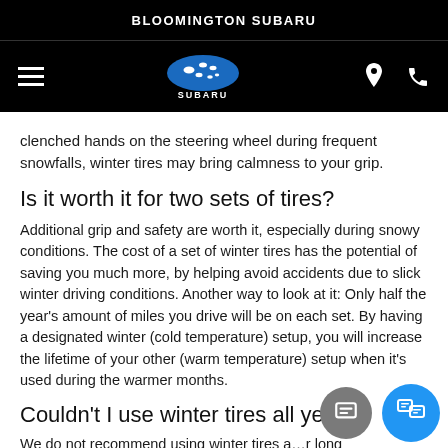BLOOMINGTON SUBARU
[Figure (logo): Subaru star logo with SUBARU text below, white on black background, with hamburger menu icon on left and location pin and phone icons on right]
clenched hands on the steering wheel during frequent snowfalls, winter tires may bring calmness to your grip.
Is it worth it for two sets of tires?
Additional grip and safety are worth it, especially during snowy conditions. The cost of a set of winter tires has the potential of saving you much more, by helping avoid accidents due to slick winter driving conditions. Another way to look at it: Only half the year’s amount of miles you drive will be on each set. By having a designated winter (cold temperature) setup, you will increase the lifetime of your other (warm temperature) setup when it’s used during the warmer months.
Couldn’t I use winter tires all year lo
We do not recommend using winter tires a…r long temperatures rise in spring through summer, the soft